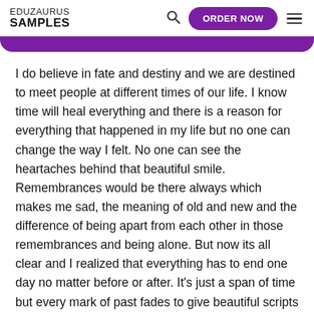EDUZAURUS SAMPLES
I do believe in fate and destiny and we are destined to meet people at different times of our life. I know time will heal everything and there is a reason for everything that happened in my life but no one can change the way I felt. No one can see the heartaches behind that beautiful smile. Remembrances would be there always which makes me sad, the meaning of old and new and the difference of being apart from each other in those remembrances and being alone. But now its all clear and I realized that everything has to end one day no matter before or after. It's just a span of time but every mark of past fades to give beautiful scripts in present. Fate decided my encounter with him and then destiny storing something else for me. We are apart and